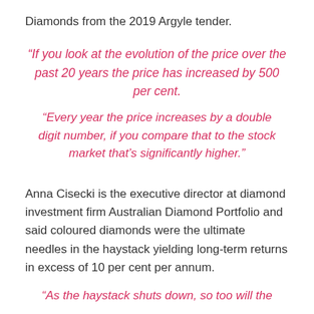Diamonds from the 2019 Argyle tender.
“If you look at the evolution of the price over the past 20 years the price has increased by 500 per cent.
“Every year the price increases by a double digit number, if you compare that to the stock market that’s significantly higher.”
Anna Cisecki is the executive director at diamond investment firm Australian Diamond Portfolio and said coloured diamonds were the ultimate needles in the haystack yielding long-term returns in excess of 10 per cent per annum.
“As the haystack shuts down, so too will the